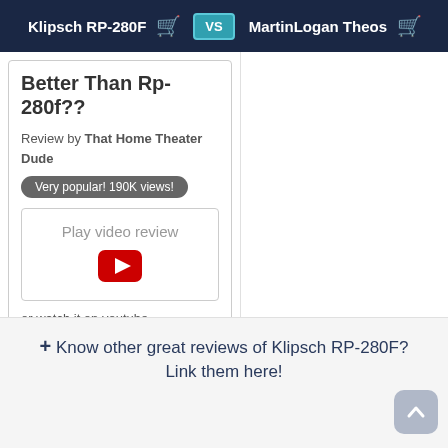Klipsch RP-280F vs MartinLogan Theos
Better Than Rp-280f??
Review by That Home Theater Dude
Very popular! 190K views!
[Figure (other): Play video review button with YouTube play icon]
or watch it on youtube
+ Know other great reviews of Klipsch RP-280F? Link them here!